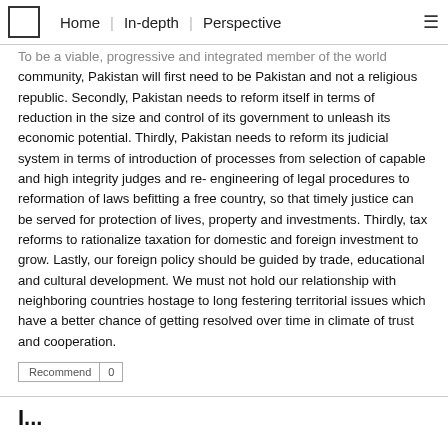Home | In-depth | Perspective
To be a viable, progressive and integrated member of the world community, Pakistan will first need to be Pakistan and not a religious republic. Secondly, Pakistan needs to reform itself in terms of reduction in the size and control of its government to unleash its economic potential. Thirdly, Pakistan needs to reform its judicial system in terms of introduction of processes from selection of capable and high integrity judges and re-engineering of legal procedures to reformation of laws befitting a free country, so that timely justice can be served for protection of lives, property and investments. Thirdly, tax reforms to rationalize taxation for domestic and foreign investment to grow. Lastly, our foreign policy should be guided by trade, educational and cultural development. We must not hold our relationship with neighboring countries hostage to long festering territorial issues which have a better chance of getting resolved over time in climate of trust and cooperation.
Recommend | 0
I...